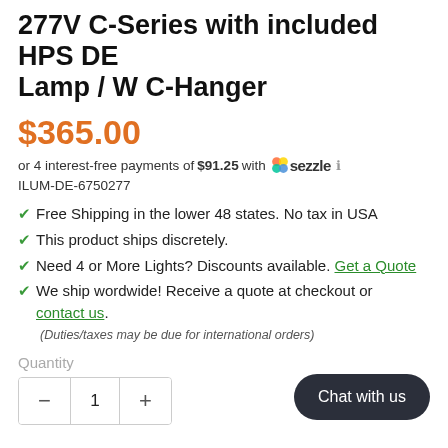277V C-Series with included HPS DE Lamp / W C-Hanger
$365.00
or 4 interest-free payments of $91.25 with sezzle ℹ
ILUM-DE-6750277
Free Shipping in the lower 48 states. No tax in USA
This product ships discretely.
Need 4 or More Lights? Discounts available. Get a Quote
We ship wordwide! Receive a quote at checkout or contact us.
(Duties/taxes may be due for international orders)
Quantity
- 1 +
Chat with us